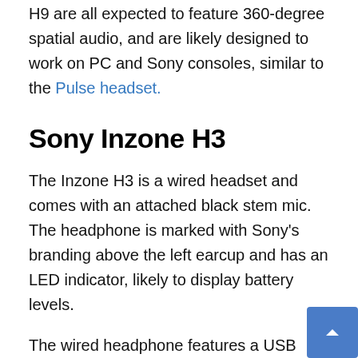H9 are all expected to feature 360-degree spatial audio, and are likely designed to work on PC and Sony consoles, similar to the Pulse headset.
Sony Inzone H3
The Inzone H3 is a wired headset and comes with an attached black stem mic. The headphone is marked with Sony's branding above the left earcup and has an LED indicator, likely to display battery levels.
The wired headphone features a USB Type-C port, a button for ambient sound mode, and a volume scroll wheel under the mic.